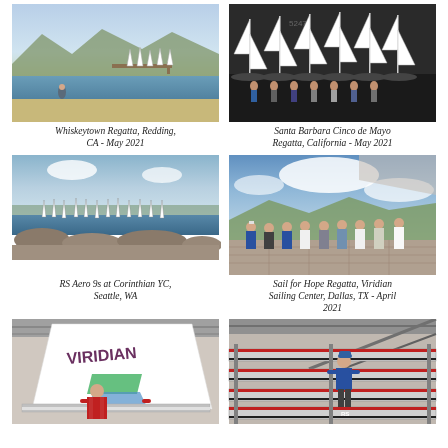[Figure (photo): Sailboats near a sandy beach shore with mountains in background, Whiskeytown Regatta, Redding, CA - May 2021]
[Figure (photo): Row of RS Aero sailboats on a hard surface with people standing nearby, Santa Barbara Cinco de Mayo Regatta, California - May 2021]
Whiskeytown Regatta, Redding, CA - May 2021
Santa Barbara Cinco de Mayo Regatta, California - May 2021
[Figure (photo): Multiple sailboats racing on a lake with rocky shoreline, RS Aero 9s at Corinthian YC, Seattle, WA]
[Figure (photo): Group of people posing on a dock or platform, Sail for Hope Regatta, Viridian Sailing Center, Dallas, TX - April 2021]
RS Aero 9s at Corinthian YC, Seattle, WA
Sail for Hope Regatta, Viridian Sailing Center, Dallas, TX - April 2021
[Figure (photo): Close-up of RS Aero sailboat with VIRIDIAN branding, sailor in red jacket seated in boat]
[Figure (photo): Person standing among stacked RS Aero sailboats in a storage facility]